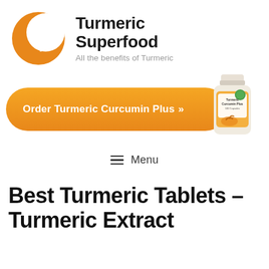[Figure (logo): Turmeric Superfood logo: orange crescent moon with stylized leaf/plant icon inside]
Turmeric Superfood
All the benefits of Turmeric
[Figure (other): Orange rounded rectangular CTA button reading 'Order Turmeric Curcumin Plus >>' with a product bottle image on the right side]
≡  Menu
Best Turmeric Tablets – Turmeric Extract